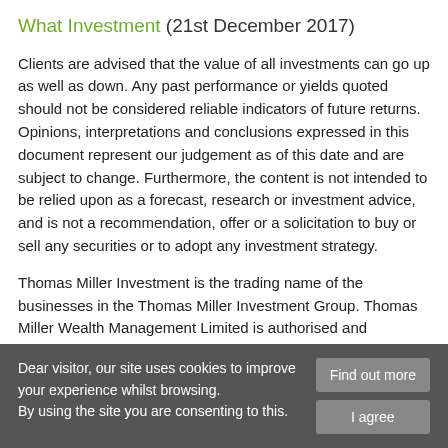What Investment (21st December 2017)
Clients are advised that the value of all investments can go up as well as down. Any past performance or yields quoted should not be considered reliable indicators of future returns. Opinions, interpretations and conclusions expressed in this document represent our judgement as of this date and are subject to change. Furthermore, the content is not intended to be relied upon as a forecast, research or investment advice, and is not a recommendation, offer or a solicitation to buy or sell any securities or to adopt any investment strategy.
Thomas Miller Investment is the trading name of the businesses in the Thomas Miller Investment Group. Thomas Miller Wealth Management Limited is authorised and regulated by the Financial Conduct Authority (Financial Services Register Number 594155). It is a company
Dear visitor, our site uses cookies to improve your experience whilst browsing. By using the site you are consenting to this.